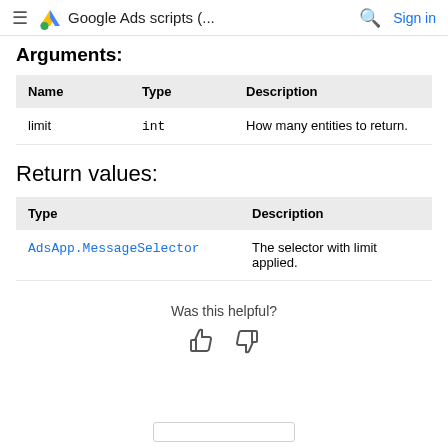Google Ads scripts (... Sign in
Arguments:
| Name | Type | Description |
| --- | --- | --- |
| limit | int | How many entities to return. |
Return values:
| Type | Description |
| --- | --- |
| AdsApp.MessageSelector | The selector with limit applied. |
Was this helpful?